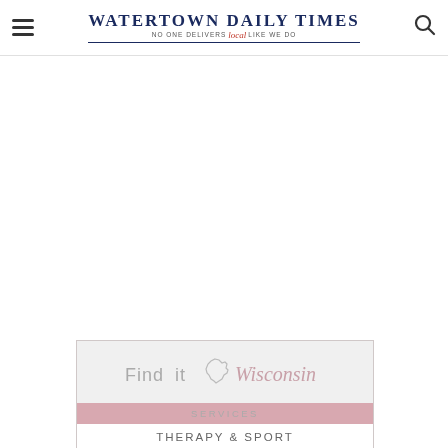Watertown Daily Times — No One Delivers Local Like We Do
[Figure (logo): Find it Wisconsin advertisement card with services bar and Therapy & Sport text]
SERVICES
THERAPY & SPORT